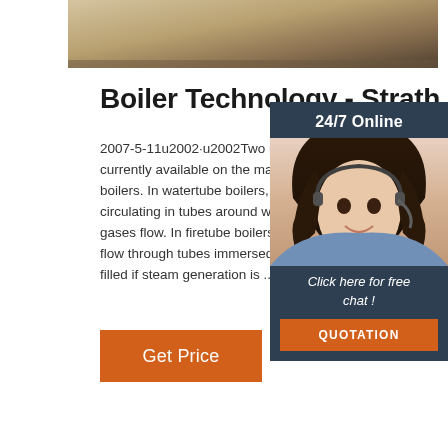[Figure (photo): Partial view of industrial boiler equipment, brownish/tan tones, cropped at top of page]
Boiler Technology - Strath
2007-5-11u2002·u2002Two main boiler techno... currently available on the market: watertube a... boilers. In watertube boilers, the water is heate... circulating in tubes around which the hot comb... gases flow. In firetube boilers, the hot combust... flow through tubes immersed in a tank filled (o... filled if steam generation is ...
[Figure (photo): Chat widget showing a woman with headset smiling, with '24/7 Online' header, 'Click here for free chat!' text and orange QUOTATION button]
Get Price